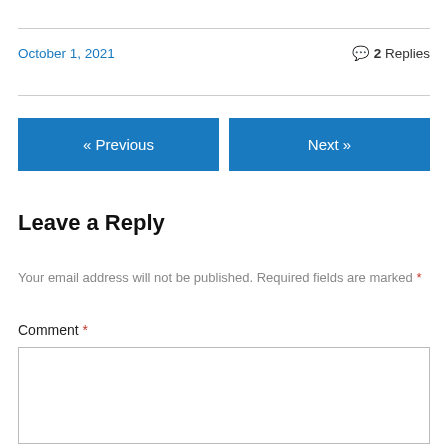October 1, 2021
💬 2 Replies
« Previous
Next »
Leave a Reply
Your email address will not be published. Required fields are marked *
Comment *